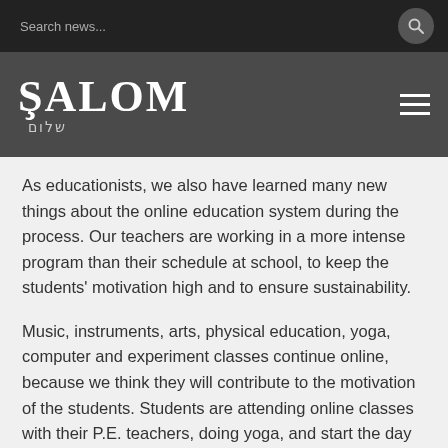Search news...
ŞALOM
As educationists, we also have learned many new things about the online education system during the process. Our teachers are working in a more intense program than their schedule at school, to keep the students' motivation high and to ensure sustainability.
Music, instruments, arts, physical education, yoga, computer and experiment classes continue online, because we think they will contribute to the motivation of the students. Students are attending online classes with their P.E. teachers, doing yoga, and start the day with mindfulness.
Our guidance counselors get regular feedback about the students. They also continue their usual guidance meetings, carry out one-on-one meetings with the parents and the students through the online